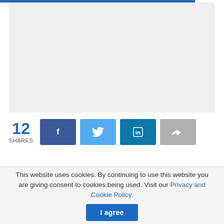[Figure (screenshot): Gray placeholder content area at top of page]
12 SHARES
[Figure (infographic): Social share buttons: Facebook (dark blue), Twitter (light blue), LinkedIn (teal/dark blue), Share/forward (gray)]
This website uses cookies. By continuing to use this website you are giving consent to cookies being used. Visit our Privacy and Cookie Policy.
I agree